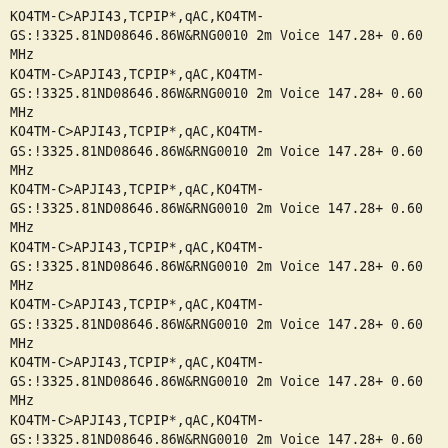KO4TM-C>APJI43,TCPIP*,qAC,KO4TM-GS:!3325.81ND08646.86W&RNG0010 2m Voice 147.28+ 0.60 MHz
KO4TM-C>APJI43,TCPIP*,qAC,KO4TM-GS:!3325.81ND08646.86W&RNG0010 2m Voice 147.28+ 0.60 MHz
KO4TM-C>APJI43,TCPIP*,qAC,KO4TM-GS:!3325.81ND08646.86W&RNG0010 2m Voice 147.28+ 0.60 MHz
KO4TM-C>APJI43,TCPIP*,qAC,KO4TM-GS:!3325.81ND08646.86W&RNG0010 2m Voice 147.28+ 0.60 MHz
KO4TM-C>APJI43,TCPIP*,qAC,KO4TM-GS:!3325.81ND08646.86W&RNG0010 2m Voice 147.28+ 0.60 MHz
KO4TM-C>APJI43,TCPIP*,qAC,KO4TM-GS:!3325.81ND08646.86W&RNG0010 2m Voice 147.28+ 0.60 MHz
KO4TM-C>APJI43,TCPIP*,qAC,KO4TM-GS:!3325.81ND08646.86W&RNG0010 2m Voice 147.28+ 0.60 MHz
KO4TM-C>APJI43,TCPIP*,qAC,KO4TM-GS:!3325.81ND08646.86W&RNG0010 2m Voice 147.28+ 0.60 MHz
KO4TM-C>APJI43,TCPIP*,qAC,KO4TM-GS:!3325.81ND08646.86W&RNG0010 2m Voice 147.28+ 0.60 MHz
KO4TM-C>APJI43,TCPIP*,qAC,KO4TM-GS:!3325.81ND08646.86W&RNG0010 2m Voice 147.28+ 0.60 MHz